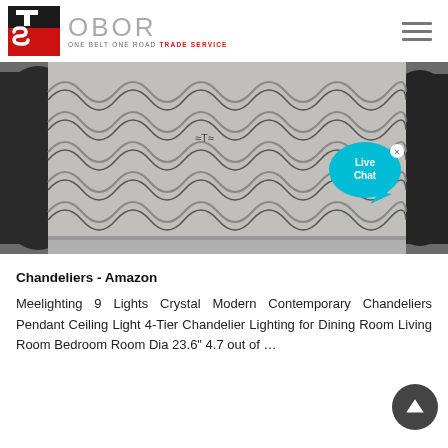[Figure (logo): OBOR Trade Service logo with red/black TS emblem and company name]
[Figure (photo): Corrugated metal roofing sheets leaning against large industrial reels/spools, photographed from a low angle]
Chandeliers - Amazon
Meelighting 9 Lights Crystal Modern Contemporary Chandeliers Pendant Ceiling Light 4-Tier Chandelier Lighting for Dining Room Living Room Bedroom Room Dia 23.6" 4.7 out of …